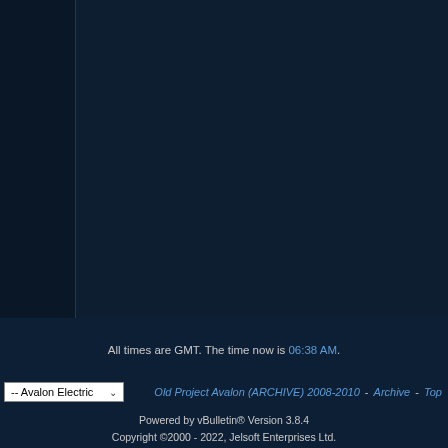[Figure (screenshot): Dark navy blue forum page layout with a left sidebar panel and main content area, both empty/dark]
All times are GMT. The time now is 06:38 AM.
-- Avalon Electric   Old Project Avalon (ARCHIVE) 2008-2010 - Archive - Top
Powered by vBulletin® Version 3.8.4
Copyright ©2000 - 2022, Jelsoft Enterprises Ltd.
Project Avalon